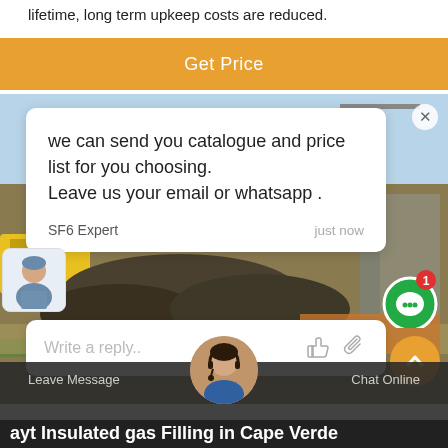lifetime, long term upkeep costs are reduced.
Get Price
[Figure (screenshot): Chat popup overlay on a construction site photo background. Shows a chat message from SF6 Expert reading 'we can send you catalogue and price list for you choosing. Leave us your email or whatsapp.' with timestamp 'just now', a reply input box with 'Write a reply..' placeholder, a green chat indicator with notification badge '1', avatar of support agent, and scroll-up button.]
Leave Message
Chat Online
ayt Insulated gas Filling in Cape Verde